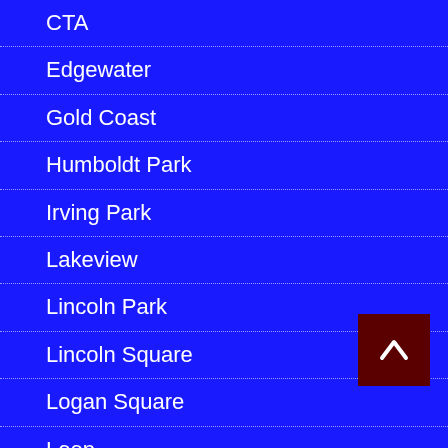CTA
Edgewater
Gold Coast
Humboldt Park
Irving Park
Lakeview
Lincoln Park
Lincoln Square
Logan Square
Loop
Magnificent Mile
Near North
Near West Side
North Center